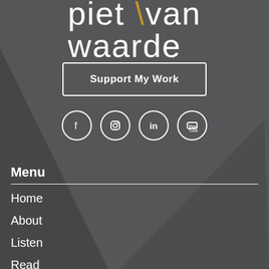piet van waarde
Support My Work
[Figure (illustration): Four social media icon circles: Facebook, Instagram, LinkedIn, YouTube]
Menu
Home
About
Listen
Read